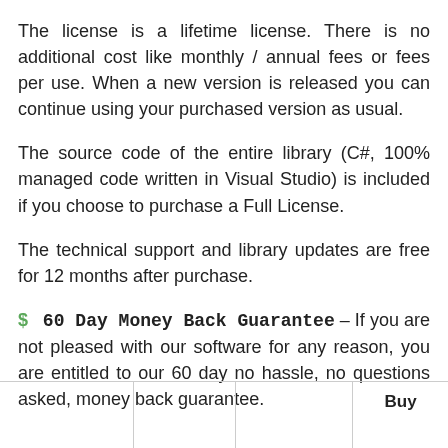The license is a lifetime license. There is no additional cost like monthly / annual fees or fees per use. When a new version is released you can continue using your purchased version as usual.
The source code of the entire library (C#, 100% managed code written in Visual Studio) is included if you choose to purchase a Full License.
The technical support and library updates are free for 12 months after purchase.
$ 60 Day Money Back Guarantee – If you are not pleased with our software for any reason, you are entitled to our 60 day no hassle, no questions asked, money back guarantee.
|  |  |  | Buy |
| --- | --- | --- | --- |
|  |  |  |  |